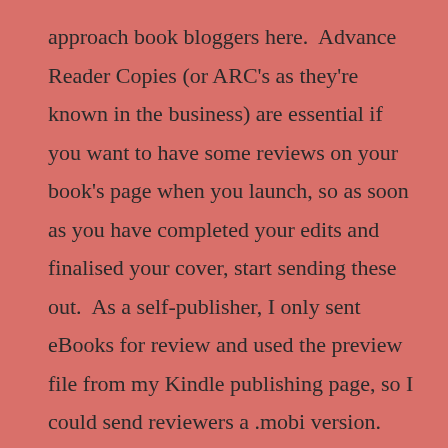approach book bloggers here.  Advance Reader Copies (or ARC's as they're known in the business) are essential if you want to have some reviews on your book's page when you launch, so as soon as you have completed your edits and finalised your cover, start sending these out.  As a self-publisher, I only sent eBooks for review and used the preview file from my Kindle publishing page, so I could send reviewers a .mobi version.